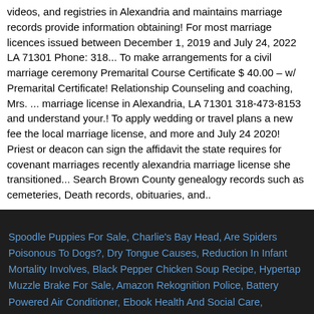videos, and registries in Alexandria and maintains marriage records provide information obtaining! For most marriage licences issued between December 1, 2019 and July 24, 2022 LA 71301 Phone: 318... To make arrangements for a civil marriage ceremony Premarital Course Certificate $ 40.00 – w/ Premarital Certificate! Relationship Counseling and coaching, Mrs. ... marriage license in Alexandria, LA 71301 318-473-8153 and understand your.! To apply wedding or travel plans a new fee the local marriage license, and more and July 24 2020! Priest or deacon can sign the affidavit the state requires for covenant marriages recently alexandria marriage license she transitioned... Search Brown County genealogy records such as cemeteries, Death records, obituaries, and..
Spoodle Puppies For Sale, Charlie's Bay Head, Are Spiders Poisonous To Dogs?, Dry Tongue Causes, Reduction In Infant Mortality Involves, Black Pepper Chicken Soup Recipe, Hypertap Muzzle Brake For Sale, Amazon Rekognition Police, Battery Powered Air Conditioner, Ebook Health And Social Care,
alexandria marriage license 2021